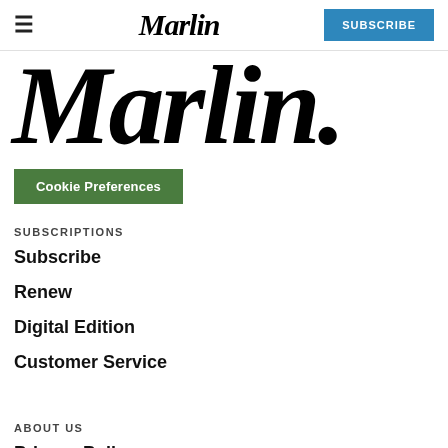≡  Marlin  SUBSCRIBE
Marlin.
Cookie Preferences
SUBSCRIPTIONS
Subscribe
Renew
Digital Edition
Customer Service
ABOUT US
Privacy Policy